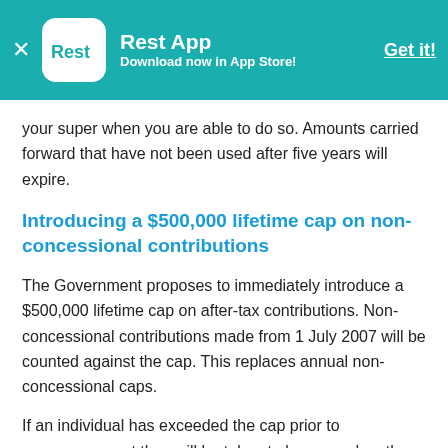Rest App — Download now in App Store! — Get it!
your super when you are able to do so. Amounts carried forward that have not been used after five years will expire.
Introducing a $500,000 lifetime cap on non-concessional contributions
The Government proposes to immediately introduce a $500,000 lifetime cap on after-tax contributions. Non-concessional contributions made from 1 July 2007 will be counted against the cap. This replaces annual non-concessional caps.
If an individual has exceeded the cap prior to commencement they will be taken to have used up the lifetime cap but will not be required to take